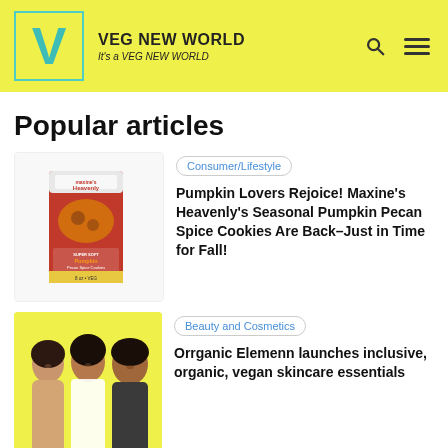[Figure (logo): Veg New World logo with teal V in bordered box, brand name and tagline, search icon and hamburger menu on yellow background]
Popular articles
[Figure (photo): Maxine's Heavenly Pumpkin Pecan Spice Cookies product box on white background]
Consumer/Lifestyle
Pumpkin Lovers Rejoice! Maxine's Heavenly's Seasonal Pumpkin Pecan Spice Cookies Are Back–Just in Time for Fall!
[Figure (photo): Three people on yellow background — two women and one man posing together]
Beauty and Cosmetics
Orrganic Elemenn launches inclusive, organic, vegan skincare essentials